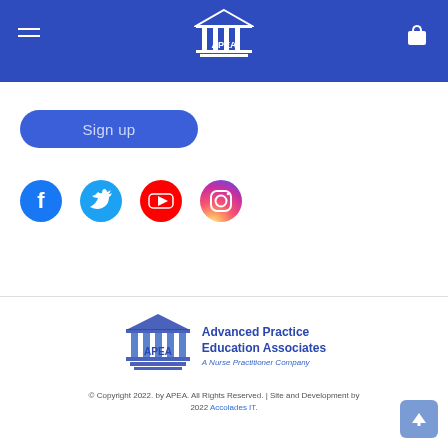APEA
Sign up
[Figure (logo): Facebook circle icon (blue)]
[Figure (logo): Twitter circle icon (light blue)]
[Figure (logo): YouTube circle icon (red)]
[Figure (logo): Instagram circle icon (gradient)]
[Figure (logo): APEA logo with building/pillars icon and text: Advanced Practice Education Associates, A Nurse Practitioner Company]
© Copyright 2022. by APEA. All Rights Reserved. | Site and Development by 2022 Accolades IT.